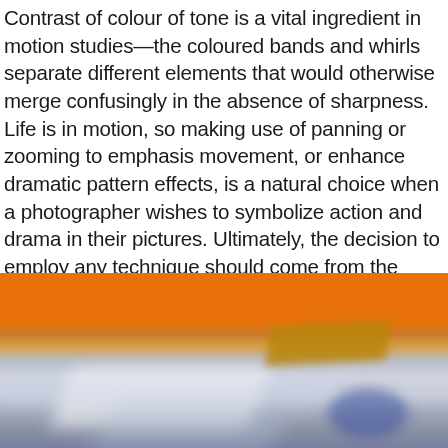Contrast of colour of tone is a vital ingredient in motion studies—the coloured bands and whirls separate different elements that would otherwise merge confusingly in the absence of sharpness. Life is in motion, so making use of panning or zooming to emphasis movement, or enhance dramatic pattern effects, is a natural choice when a photographer wishes to symbolize action and drama in their pictures. Ultimately, the decision to employ any technique should come from the need to express a particular idea through the medium.
[Figure (photo): A motion-blurred photograph showing an orange-topped subject (possibly a boat or vehicle) with blurred streaks of white, blue, and grey suggesting fast movement against a mixed background.]